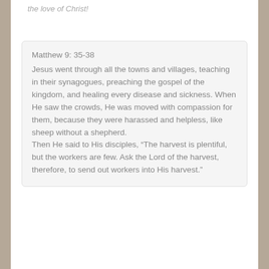the love of Christ!
Matthew 9: 35-38
Jesus went through all the towns and villages, teaching in their synagogues, preaching the gospel of the kingdom, and healing every disease and sickness. When He saw the crowds, He was moved with compassion for them, because they were harassed and helpless, like sheep without a shepherd. Then He said to His disciples, “The harvest is plentiful, but the workers are few. Ask the Lord of the harvest, therefore, to send out workers into His harvest.”